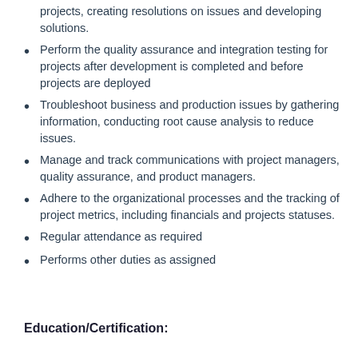projects, creating resolutions on issues and developing solutions.
Perform the quality assurance and integration testing for projects after development is completed and before projects are deployed
Troubleshoot business and production issues by gathering information, conducting root cause analysis to reduce issues.
Manage and track communications with project managers, quality assurance, and product managers.
Adhere to the organizational processes and the tracking of project metrics, including financials and projects statuses.
Regular attendance as required
Performs other duties as assigned
Education/Certification: